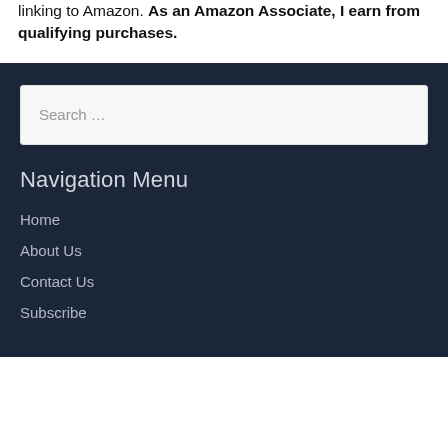linking to Amazon. As an Amazon Associate, I earn from qualifying purchases.
Search ...
Navigation Menu
Home
About Us
Contact Us
Subscribe